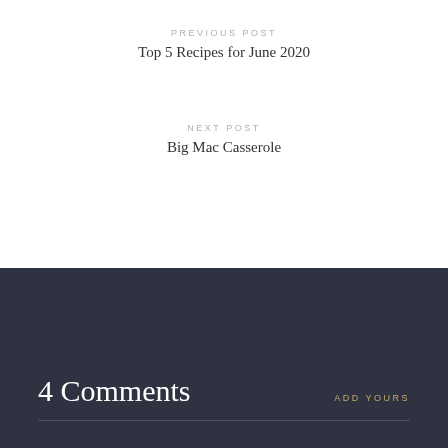PREVIOUS POST
Top 5 Recipes for June 2020
NEXT POST
Big Mac Casserole
4 Comments
ADD YOURS